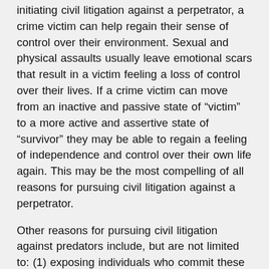initiating civil litigation against a perpetrator, a crime victim can help regain their sense of control over their environment. Sexual and physical assaults usually leave emotional scars that result in a victim feeling a loss of control over their lives. If a crime victim can move from an inactive and passive state of “victim” to a more active and assertive state of “survivor” they may be able to regain a feeling of independence and control over their own life again. This may be the most compelling of all reasons for pursuing civil litigation against a perpetrator.
Other reasons for pursuing civil litigation against predators include, but are not limited to: (1) exposing individuals who commit these crimes to the public through media coverage and press releases (local news media are most interested in these cases); (2) seeking money damages to assist